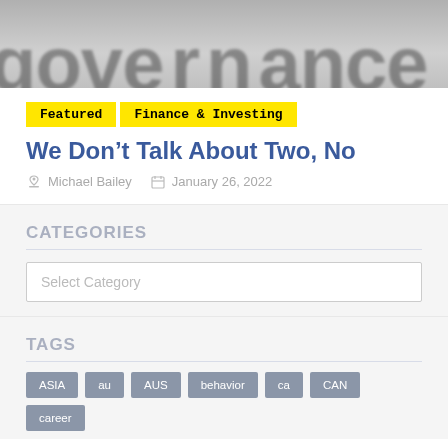[Figure (photo): Blurred black and white image showing large bold text with letters 'go' and 'ance' visible, suggesting the word 'governance']
Featured    Finance & Investing
We Don't Talk About Two, No
Michael Bailey    January 26, 2022
CATEGORIES
Select Category
TAGS
ASIA
au
AUS
behavior
ca
CAN
career